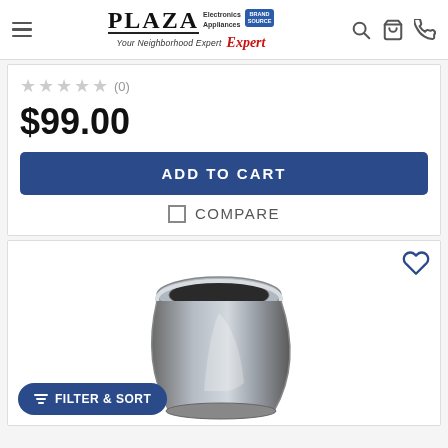PLAZA Electronics Appliances Your Neighborhood Expert BrandSource Expert
★★★★☆ (0)
$99.00
ADD TO CART
COMPARE
[Figure (photo): A galvanized steel HVAC duct reducer/transition piece, viewed from above, showing a circular opening at top tapering to a narrower rectangular base.]
FILTER & SORT